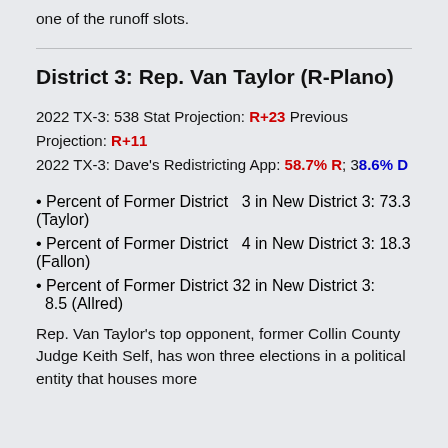one of the runoff slots.
District 3: Rep. Van Taylor (R-Plano)
2022 TX-3: 538 Stat Projection: R+23 Previous Projection: R+11
2022 TX-3: Dave's Redistricting App: 58.7% R; 38.6% D
Percent of Former District 3 in New District 3: 73.3 (Taylor)
Percent of Former District 4 in New District 3: 18.3 (Fallon)
Percent of Former District 32 in New District 3: 8.5 (Allred)
Rep. Van Taylor's top opponent, former Collin County Judge Keith Self, has won three elections in a political entity that houses more